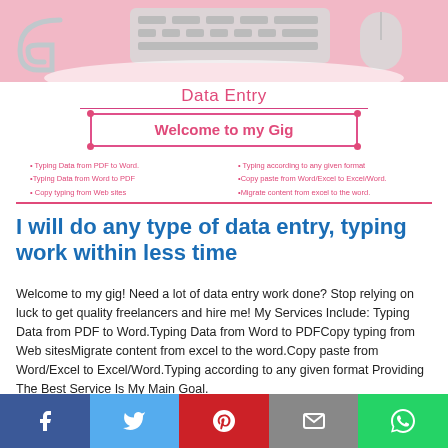[Figure (photo): Top banner image showing a pink desk setup with headphones, keyboard, and mouse on a pink background]
Data Entry
Welcome to my Gig
Typing Data from PDF to Word.
Typing according to any given format
Typing Data from Word to PDF
Copy paste from Word/Excel to Excel/Word.
Copy typing from Web sites
Migrate content from excel to the word.
I will do any type of data entry, typing work within less time
Welcome to my gig! Need a lot of data entry work done? Stop relying on luck to get quality freelancers and hire me! My Services Include: Typing Data from PDF to Word.Typing Data from Word to PDFCopy typing from Web sitesMigrate content from excel to the word.Copy paste from Word/Excel to Excel/Word.Typing according to any given format Providing The Best Service Is My Main Goal.
[Figure (infographic): Social media sharing bar with Facebook, Twitter, Pinterest, Email, and WhatsApp buttons]